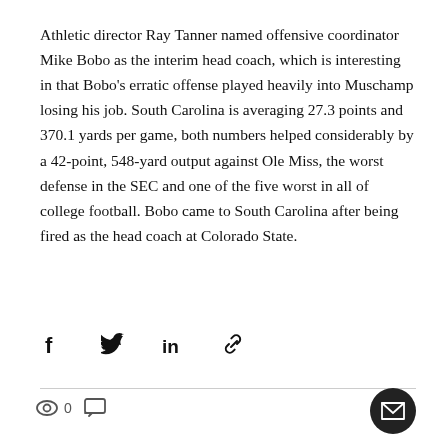Athletic director Ray Tanner named offensive coordinator Mike Bobo as the interim head coach, which is interesting in that Bobo's erratic offense played heavily into Muschamp losing his job. South Carolina is averaging 27.3 points and 370.1 yards per game, both numbers helped considerably by a 42-point, 548-yard output against Ole Miss, the worst defense in the SEC and one of the five worst in all of college football. Bobo came to South Carolina after being fired as the head coach at Colorado State.
[Figure (other): Social share icons bar: Facebook, Twitter, LinkedIn, link/copy icon]
[Figure (other): Bottom bar with eye/views icon showing 0 views, comment icon, and email button (dark circle with envelope icon)]